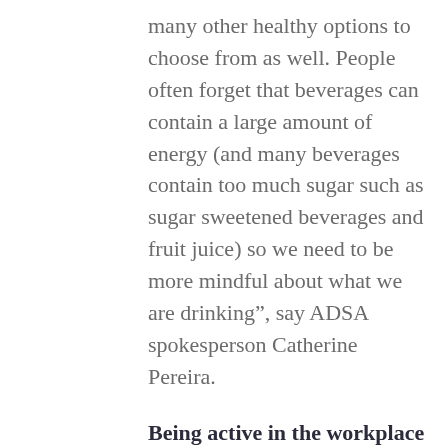many other healthy options to choose from as well. People often forget that beverages can contain a large amount of energy (and many beverages contain too much sugar such as sugar sweetened beverages and fruit juice) so we need to be more mindful about what we are drinking”, say ADSA spokesperson Catherine Pereira.
Being active in the workplace is also important and employees should try to be as physically active as possible. Durban-based dietitian, Hlanzeka